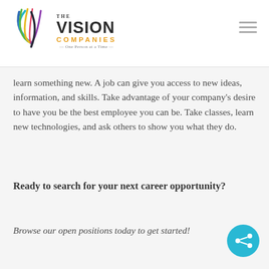THE VISION COMPANIES — One Person at a Time
learn something new. A job can give you access to new ideas, information, and skills. Take advantage of your company's desire to have you be the best employee you can be. Take classes, learn new technologies, and ask others to show you what they do.
Ready to search for your next career opportunity?
Browse our open positions today to get started!